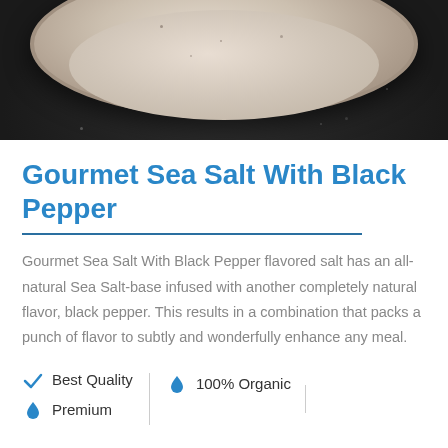[Figure (photo): Top-down view of a speckled ceramic bowl or mortar on a dark stone surface, partially cropped at top]
Gourmet Sea Salt With Black Pepper
Gourmet Sea Salt With Black Pepper flavored salt has an all-natural Sea Salt-base infused with another completely natural flavor, black pepper. This results in a combination that packs a punch of flavor to subtly and wonderfully enhance any meal.
Best Quality
100% Organic
Premium